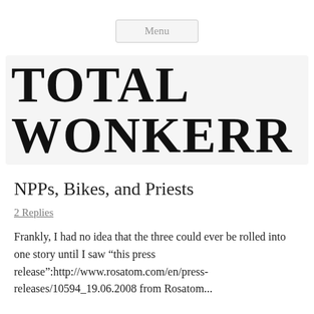Menu
TOTAL WONKERR
NPPs, Bikes, and Priests
2 Replies
Frankly, I had no idea that the three could ever be rolled into one story until I saw “this press release”:http://www.rosatom.com/en/press-releases/10594_19.06.2008 from Rosatom...